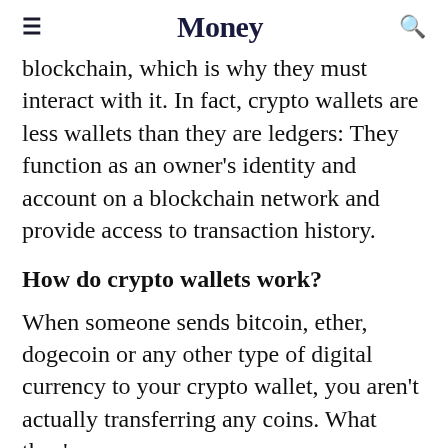Money
blockchain, which is why they must interact with it. In fact, crypto wallets are less wallets than they are ledgers: They function as an owner's identity and account on a blockchain network and provide access to transaction history.
How do crypto wallets work?
When someone sends bitcoin, ether, dogecoin or any other type of digital currency to your crypto wallet, you aren't actually transferring any coins. What they're